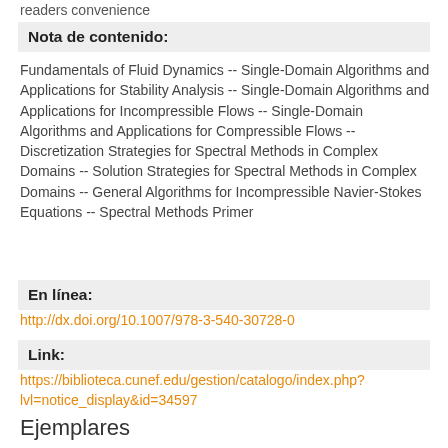readers convenience
Nota de contenido:
Fundamentals of Fluid Dynamics -- Single-Domain Algorithms and Applications for Stability Analysis -- Single-Domain Algorithms and Applications for Incompressible Flows -- Single-Domain Algorithms and Applications for Compressible Flows -- Discretization Strategies for Spectral Methods in Complex Domains -- Solution Strategies for Spectral Methods in Complex Domains -- General Algorithms for Incompressible Navier-Stokes Equations -- Spectral Methods Primer
En línea:
http://dx.doi.org/10.1007/978-3-540-30728-0
Link:
https://biblioteca.cunef.edu/gestion/catalogo/index.php?lvl=notice_display&id=34597
Ejemplares